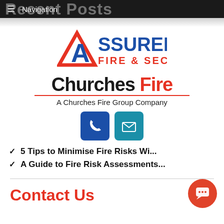Recent Posts
Navigation
[Figure (logo): Assured Fire & Security logo with red triangle and blue text]
[Figure (logo): Churches Fire logo with red underline and subtitle: A Churches Fire Group Company, plus phone and mail icon buttons]
5 Tips to Minimise Fire Risks Wi...
A Guide to Fire Risk Assessments...
Contact Us